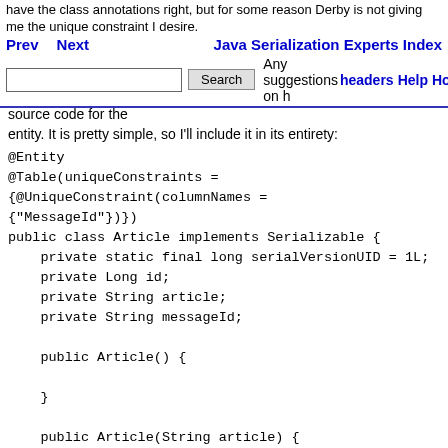have the class annotations right, but for some reason Derby is not giving me the unique constraint I desire.
Prev  Next  Java Serialization Experts Index
[Search box] Search
Any suggestions on how to resolve this? Here's the  headers  Help  Home
source code for the entity. It is pretty simple, so I'll include it in its entirety:
source code for the entity. It is pretty simple, so I'll include it in its entirety: